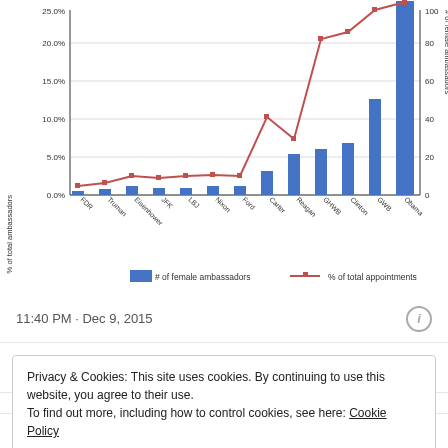[Figure (grouped-bar-chart): Female Ambassadors by President]
11:40 PM · Dec 9, 2015
♥ 3   Reply   Copy link to Tweet
Explore what's happening on Twitter
Privacy & Cookies: This site uses cookies. By continuing to use this website, you agree to their use.
To find out more, including how to control cookies, see here: Cookie Policy